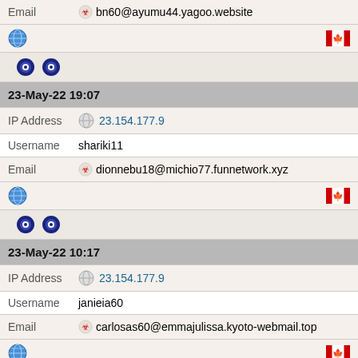Email 🔴 bn60@ayumu44.yagoo.website
🌐 [globe icon] [CA flag]
🔵🔵 [two shield icons]
23-May-22 19:07
IP Address 🔘 23.154.177.9
Username  shariki11
Email 🔴 dionnebu18@michio77.funnetwork.xyz
🌐 [globe icon] [CA flag]
🔵🔵 [two shield icons]
23-May-22 10:17
IP Address 🔘 23.154.177.9
Username  janieia60
Email 🔴 carlosas60@emmajulissa.kyoto-webmail.top
🌐 [globe icon] [CA flag]
🔵🔵 [two shield icons]
23-May-22 06:26
IP Address 🔘 23.154.177.9